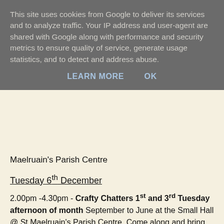This site uses cookies from Google to deliver its services and to analyze traffic. Your IP address and user-agent are shared with Google along with performance and security metrics to ensure quality of service, generate usage statistics, and to detect and address abuse.
LEARN MORE    OK
Maelruain's Parish Centre
Tuesday 6th December
2.00pm -4.30pm - Crafty Chatters 1st and 3rd Tuesday afternoon of month September to June at the Small Hall @ St Maelruain's Parish Centre. Come along and bring whatever craft you are working on or learn a new one! Please join us, everyone is welcome
7.30pm – St. Maelruain's Bowls Club @ Main Hall Parish Centre
8.00pm - Bible Study of the readings for the following Sunday.